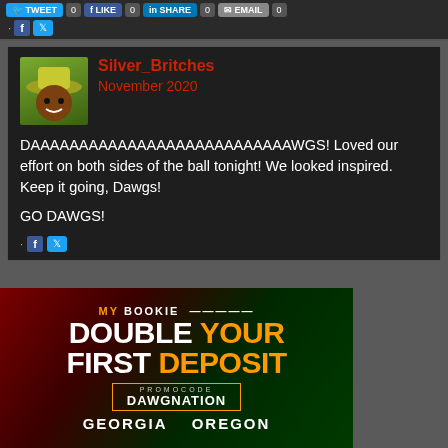[Figure (screenshot): Social share buttons row (Tweet, Facebook Like, LinkedIn Share, Email) with counts, followed by small Facebook and Twitter icons]
Silver_Britches
November 2020
DAAAAAAAAAAAAAAAAAAAAAAAAAAAWGS! Loved our effort on both sides of the ball tonight! We looked inspired. Keep it going, Dawgs!

GO DAWGS!
[Figure (advertisement): MyBookie advertisement: DOUBLE YOUR FIRST DEPOSIT, PROMOCODE DAWGNATION, Georgia vs Oregon matchup]